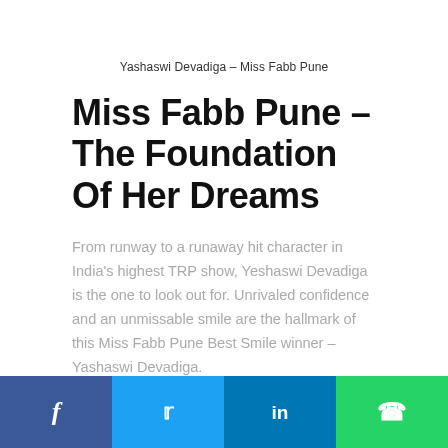Yashaswi Devadiga – Miss Fabb Pune
Miss Fabb Pune – The Foundation Of Her Dreams
From runway to a runaway hit character in India's highest TRP show, Yeshaswi Devadiga is the one to look out for. Unrivaled confidence and an unmissable smile are the hallmark of this Miss Fabb Pune Best Smile winner – Yashaswi Devadiga.